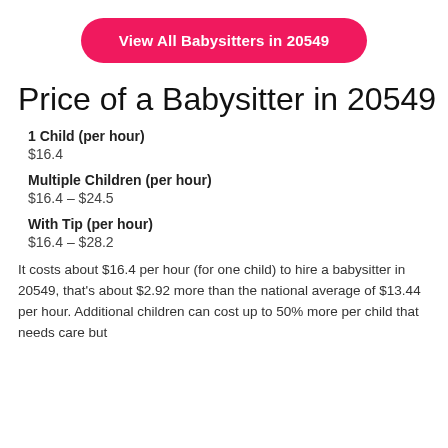[Figure (other): Pink/hot-pink rounded rectangle button with white bold text: 'View All Babysitters in 20549']
Price of a Babysitter in 20549
1 Child (per hour)
$16.4
Multiple Children (per hour)
$16.4 – $24.5
With Tip (per hour)
$16.4 – $28.2
It costs about $16.4 per hour (for one child) to hire a babysitter in 20549, that's about $2.92 more than the national average of $13.44 per hour. Additional children can cost up to 50% more per child that needs care but